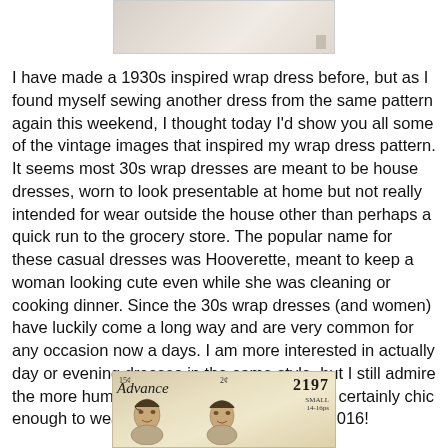[Figure (photo): Partial top image of a dress or fabric, cropped at top of page]
I have made a 1930s inspired wrap dress before, but as I found myself sewing another dress from the same pattern again this weekend, I thought today I'd show you all some of the vintage images that inspired my wrap dress pattern. It seems most 30s wrap dresses are meant to be house dresses, worn to look presentable at home but not really intended for wear outside the house other than perhaps a quick run to the grocery store. The popular name for these casual dresses was Hooverette, meant to keep a woman looking cute even while she was cleaning or cooking dinner. Since the 30s wrap dresses (and women) have luckily come a long way and are very common for any occasion now a days. I am more interested in actually day or evening dresses in the same style, but I still admire the more humble house dresses as they are certainly chic enough to wear out and about town now in 2016!
[Figure (photo): Bottom portion of a vintage sewing pattern envelope showing 'Advance' brand, pattern number 2197, size Small, with illustrated women's faces]